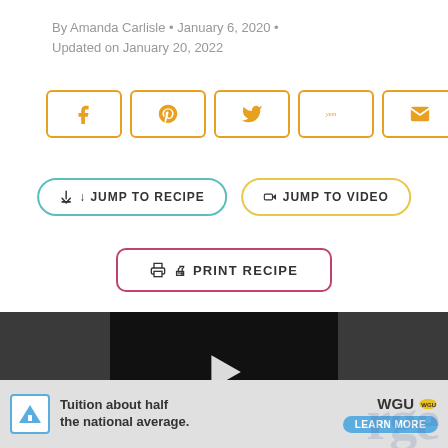By Amanda Carlisle • January 6, 2020 • Updated on January 20, 2022
[Figure (infographic): Social sharing buttons (Facebook, Pinterest, Twitter, Yummly, Email) with 670.4K SHARES count]
[Figure (infographic): JUMP TO RECIPE and JUMP TO VIDEO navigation buttons]
[Figure (infographic): PRINT RECIPE button]
[Figure (screenshot): Video player area showing dark background with play button]
[Figure (infographic): WGU advertisement: Tuition about half the national average. LEARN MORE]